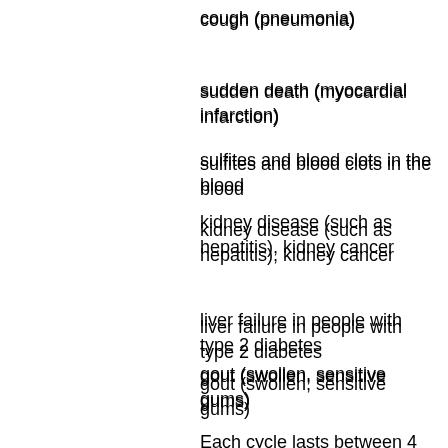cough (pneumonia)
sudden death (myocardial infarction)
sulfites and blood clots in the blood
kidney disease (such as hepatitis), kidney cancer
liver failure in people with type 2 diabetes
gout (swollen, sensitive gums)
heart attack
bruising and swelling of some parts of the body (liver, kidneys)
Each cycle lasts between 4 weeks (in the